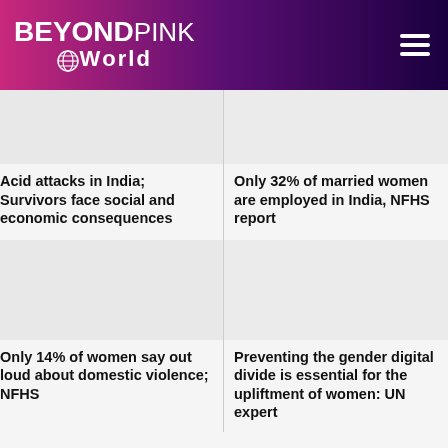BEYONDpink World
[Figure (illustration): Placeholder image card top-left]
[Figure (illustration): Placeholder image card top-right]
Acid attacks in India; Survivors face social and economic consequences
Only 32% of married women are employed in India, NFHS report
[Figure (illustration): Placeholder image card bottom-left]
[Figure (illustration): Placeholder image card bottom-right]
Only 14% of women say out loud about domestic violence; NFHS
Preventing the gender digital divide is essential for the upliftment of women: UN expert